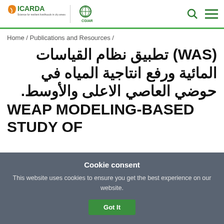ICARDA | CGIAR — Science for resilient livelihoods in dry areas
Home / Publications and Resources /
(WAS) تطبيق نظام القياسات المائية ورفع انتاجية المياه في حوضي العاصي الاعلى والأوسط. WEAP MODELING-BASED STUDY OF
Cookie consent
This website uses cookies to ensure you get the best experience on our website.
Got It